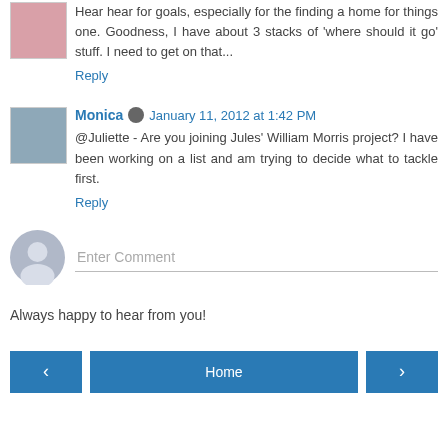Hear hear for goals, especially for the finding a home for things one. Goodness, I have about 3 stacks of 'where should it go' stuff. I need to get on that...
Reply
Monica  January 11, 2012 at 1:42 PM
@Juliette - Are you joining Jules' William Morris project? I have been working on a list and am trying to decide what to tackle first.
Reply
Enter Comment
Always happy to hear from you!
< Home >